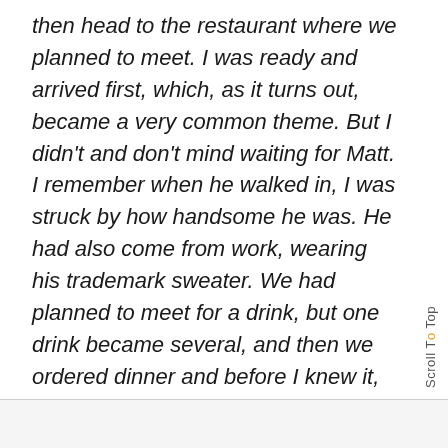then head to the restaurant where we planned to meet. I was ready and arrived first, which, as it turns out, became a very common theme. But I didn't and don't mind waiting for Matt. I remember when he walked in, I was struck by how handsome he was. He had also come from work, wearing his trademark sweater. We had planned to meet for a drink, but one drink became several, and then we ordered dinner and before I knew it, hours had passed. It is one of the happiest nights of my life.
Scroll To Top